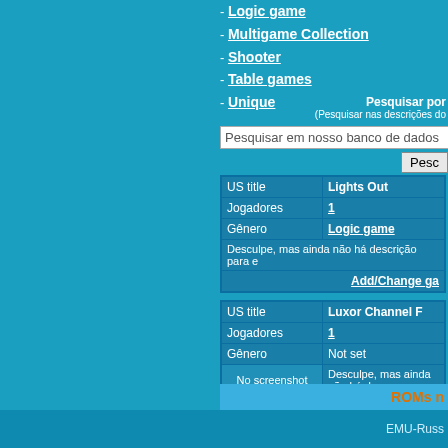- Logic game
- Multigame Collection
- Shooter
- Table games
- Unique
Pesquisar por
(Pesquisar nas descrições do
Pesquisar em nosso banco de dados
Pesc
|  |  |
| --- | --- |
| US title | Lights Out |
| Jogadores | 1 |
| Gênero | Logic game |
| Desculpe, mas ainda não há descrição para e |  |
| Add/Change ga |  |
|  |  |
| --- | --- |
| US title | Luxor Channel F |
| Jogadores | 1 |
| Gênero | Not set |
| No screenshot | Desculpe, mas ainda não há descr |
| Add/Change ga |  |
ROMs n
EMU-Russ